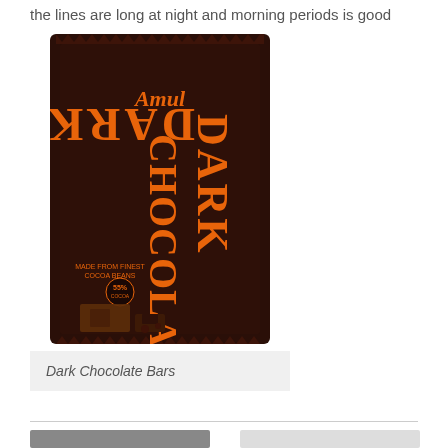the lines are long at night and morning periods is good
[Figure (photo): Amul Dark Chocolate bar packaging — dark brown wrapper with orange text reading 'Amul DARK CHOCOLATE', with cocoa bean imagery and chocolate pieces at the bottom]
Dark Chocolate Bars
RELATED PRODUCTS